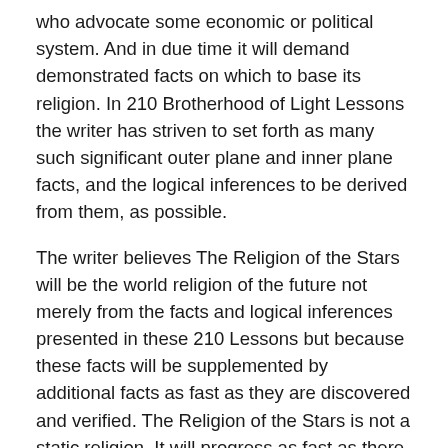who advocate some economic or political system. And in due time it will demand demonstrated facts on which to base its religion. In 210 Brotherhood of Light Lessons the writer has striven to set forth as many such significant outer plane and inner plane facts, and the logical inferences to be derived from them, as possible.
The writer believes The Religion of the Stars will be the world religion of the future not merely from the facts and logical inferences presented in these 210 Lessons but because these facts will be supplemented by additional facts as fast as they are discovered and verified. The Religion of the Stars is not a static religion. It will progress as fast as there is progress in demonstrable knowledge.
This writer is not so foolish to believe that what has already been published in the 210 Brotherhood of Light Lessons is the last word, or that no errors have been made in them, or that new demonstrated facts may not make necessary some revision of the ideas there presented. He all too well remembers that